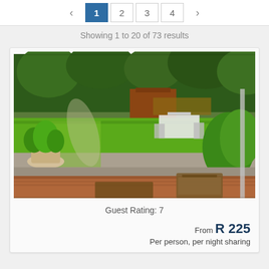< 1 2 3 4 >
Showing 1 to 20 of 73 results
[Figure (photo): Garden/outdoor area of a guesthouse with green lawn, patio furniture, potted plants, gravel path, and lush tropical vegetation]
Guest Rating: 7
From R 225
Per person, per night sharing